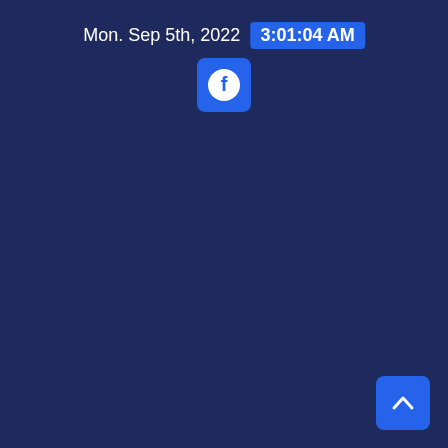Mon. Sep 5th, 2022  3:01:04 AM
[Figure (logo): Facebook icon button — square with rounded corners in blue, white Facebook 'f' logo inside a circle]
[Figure (other): Scroll-to-top button — blue square with rounded corners, white upward chevron arrow]